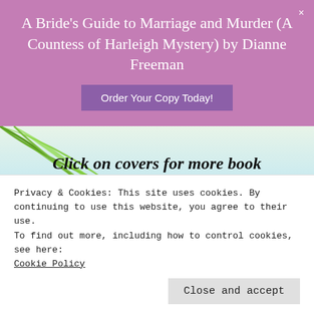A Bride's Guide to Marriage and Murder (A Countess of Harleigh Mystery) by Dianne Freeman
Order Your Copy Today!
Click on covers for more book information or to order from Amazon.
9/30/2022
SARAH HUALDE
Privacy & Cookies: This site uses cookies. By continuing to use this website, you agree to their use.
To find out more, including how to control cookies, see here: Cookie Policy
Close and accept